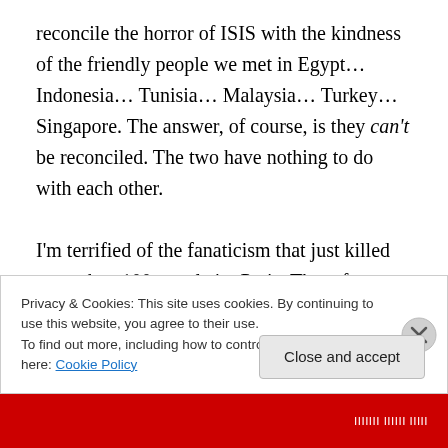reconcile the horror of ISIS with the kindness of the friendly people we met in Egypt… Indonesia… Tunisia… Malaysia… Turkey… Singapore. The answer, of course, is they can't be reconciled. The two have nothing to do with each other.

I'm terrified of the fanaticism that just killed more than 100 people in Paris. The refugees are terrified, too. The people fleeing to Europe want the same things we do: a civilized place to work, live, and raise their children. A stream of humanity is arriving. People with dreams and
Privacy & Cookies: This site uses cookies. By continuing to use this website, you agree to their use.
To find out more, including how to control cookies, see here: Cookie Policy
Close and accept